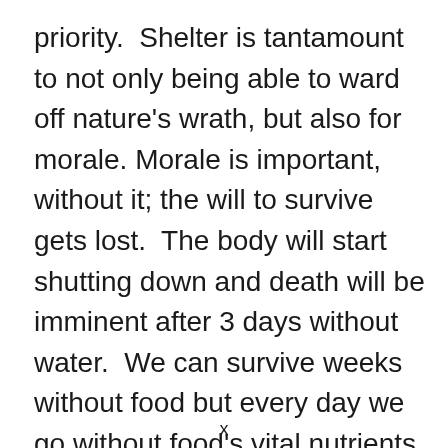priority.  Shelter is tantamount to not only being able to ward off nature's wrath, but also for morale. Morale is important, without it; the will to survive gets lost.  The body will start shutting down and death will be imminent after 3 days without water.  We can survive weeks without food but every day we go without food's vital nutrients, we lose the energy and ability to gather the very food we have been trying to get.  Many people, me included, have talked, given ideas, and plan on hunting to
x